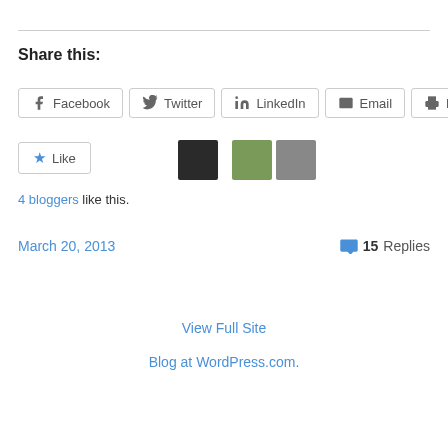Share this:
Facebook | Twitter | LinkedIn | Email | Print
4 bloggers like this.
March 20, 2013   15 Replies
View Full Site
Blog at WordPress.com.